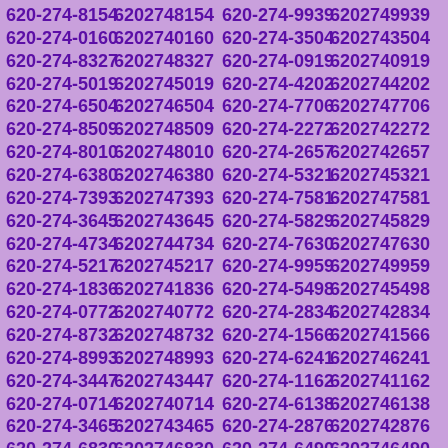620-274-8154 6202748154 620-274-9939 6202749939
620-274-0160 6202740160 620-274-3504 6202743504
620-274-8327 6202748327 620-274-0919 6202740919
620-274-5019 6202745019 620-274-4202 6202744202
620-274-6504 6202746504 620-274-7706 6202747706
620-274-8509 6202748509 620-274-2272 6202742272
620-274-8010 6202748010 620-274-2657 6202742657
620-274-6380 6202746380 620-274-5321 6202745321
620-274-7393 6202747393 620-274-7581 6202747581
620-274-3645 6202743645 620-274-5829 6202745829
620-274-4734 6202744734 620-274-7630 6202747630
620-274-5217 6202745217 620-274-9959 6202749959
620-274-1836 6202741836 620-274-5498 6202745498
620-274-0772 6202740772 620-274-2834 6202742834
620-274-8732 6202748732 620-274-1566 6202741566
620-274-8993 6202748993 620-274-6241 6202746241
620-274-3447 6202743447 620-274-1162 6202741162
620-274-0714 6202740714 620-274-6138 6202746138
620-274-3465 6202743465 620-274-2876 6202742876
620-274-6830 6202746830 620-274-6490 6202746490
620-274-1417 6202741417 620-274-3730 6202743730